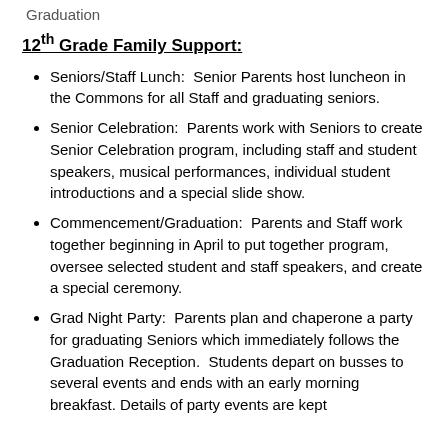Graduation
12th Grade Family Support:
Seniors/Staff Lunch:  Senior Parents host luncheon in the Commons for all Staff and graduating seniors.
Senior Celebration:  Parents work with Seniors to create Senior Celebration program, including staff and student speakers, musical performances, individual student introductions and a special slide show.
Commencement/Graduation:  Parents and Staff work together beginning in April to put together program, oversee selected student and staff speakers, and create a special ceremony.
Grad Night Party:  Parents plan and chaperone a party for graduating Seniors which immediately follows the Graduation Reception.  Students depart on busses to several events and ends with an early morning breakfast. Details of party events are kept